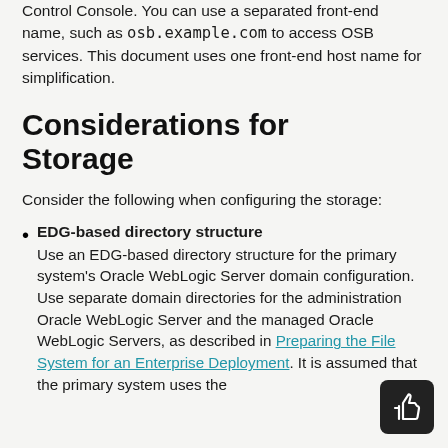Control Console. You can use a separated front-end name, such as osb.example.com to access OSB services. This document uses one front-end host name for simplification.
Considerations for Storage
Consider the following when configuring the storage:
EDG-based directory structure
Use an EDG-based directory structure for the primary system's Oracle WebLogic Server domain configuration. Use separate domain directories for the administration Oracle WebLogic Server and the managed Oracle WebLogic Servers, as described in Preparing the File System for an Enterprise Deployment. It is assumed that the primary system uses the